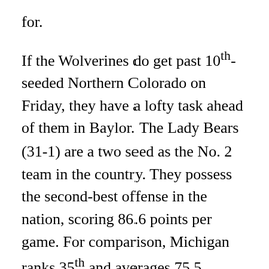for.
If the Wolverines do get past 10th-seeded Northern Colorado on Friday, they have a lofty task ahead of them in Baylor. The Lady Bears (31-1) are a two seed as the No. 2 team in the country. They possess the second-best offense in the nation, scoring 86.6 points per game. For comparison, Michigan ranks 35th and averages 75.5.
Let’s face it, the Wolverines’ chances are far from ideal.
But they have come a long way. They are the